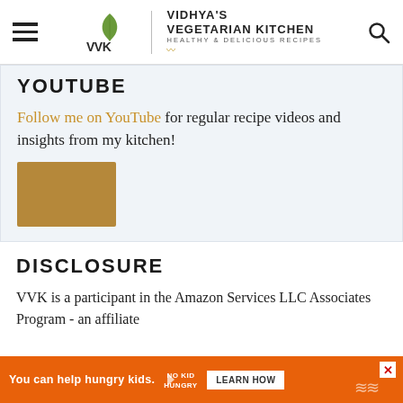Vidhya's Vegetarian Kitchen — Healthy & Delicious Recipes
YOUTUBE
Follow me on YouTube for regular recipe videos and insights from my kitchen!
[Figure (other): YouTube channel thumbnail placeholder (tan/brown rectangle)]
DISCLOSURE
VVK is a participant in the Amazon Services LLC Associates Program - an affiliate
You can help hungry kids. No Kid Hungry. LEARN HOW